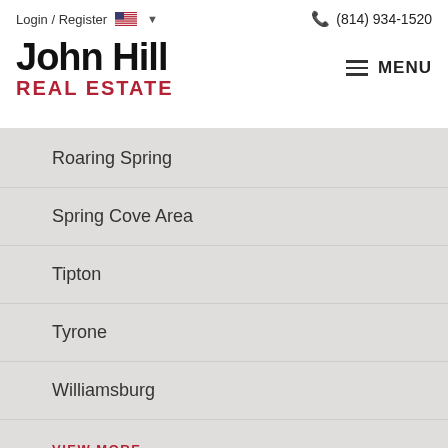Login / Register  🇺🇸  ▾     (814) 934-1520
John Hill
REAL ESTATE
≡ MENU
Roaring Spring
Spring Cove Area
Tipton
Tyrone
Williamsburg
VIEW MORE  >